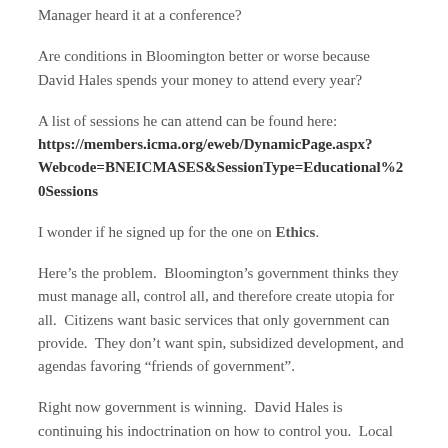Manager heard it at a conference?
Are conditions in Bloomington better or worse because David Hales spends your money to attend every year?
A list of sessions he can attend can be found here: https://members.icma.org/eweb/DynamicPage.aspx?Webcode=BNEICMASES&SessionType=Educational%20Sessions
I wonder if he signed up for the one on Ethics.
Here’s the problem.  Bloomington’s government thinks they must manage all, control all, and therefore create utopia for all.  Citizens want basic services that only government can provide.  They don’t want spin, subsidized development, and agendas favoring “friends of government”.
Right now government is winning.  David Hales is continuing his indoctrination on how to control you.  Local government is